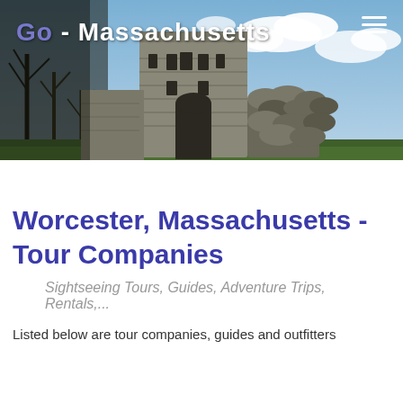[Figure (photo): Header banner image of a stone castle/fortress structure with bare trees and blue sky with clouds. Overlaid with site logo text 'Go - Massachusetts' and a hamburger menu icon.]
Worcester, Massachusetts - Tour Companies
Sightseeing Tours, Guides, Adventure Trips, Rentals,...
Listed below are tour companies, guides and outfitters